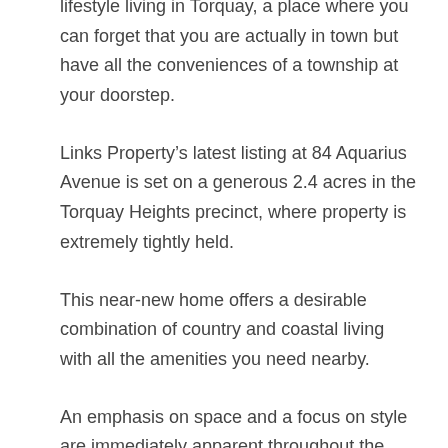lifestyle living in Torquay, a place where you can forget that you are actually in town but have all the conveniences of a township at your doorstep.
Links Property’s latest listing at 84 Aquarius Avenue is set on a generous 2.4 acres in the Torquay Heights precinct, where property is extremely tightly held.
This near-new home offers a desirable combination of country and coastal living with all the amenities you need nearby.
An emphasis on space and a focus on style are immediately apparent throughout the impressive dimensions of this contemporary